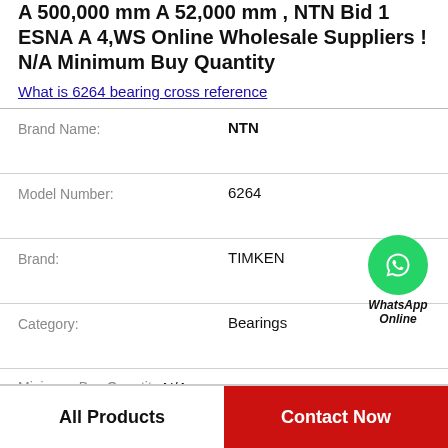A 500,000 mm A 52,000 mm , NTN Bid 1 ESNA A 4,WS Online Wholesale Suppliers ! N/A Minimum Buy Quantity
What is 6264 bearing cross reference
| Field | Value |
| --- | --- |
| Brand Name: | NTN |
| Model Number: | 6264 |
| Brand: | TIMKEN |
| Category: | Bearings |
| Minimum Buy Quantity: | N/A |
| Manufacturer Name: | TIMKEN |
| Product Group: | B04334 |
[Figure (logo): WhatsApp Online green circle icon with phone handset, text WhatsApp Online below]
All Products
Contact Now